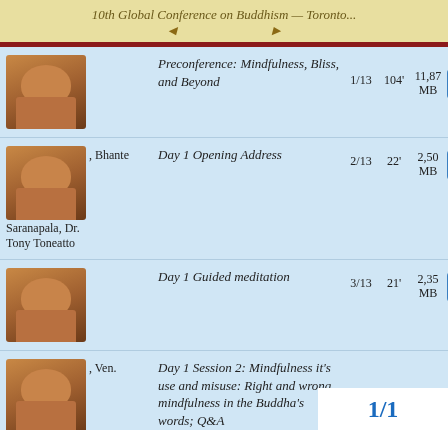10th Global Conference on Buddhism — Toronto...
Preconference: Mindfulness, Bliss, and Beyond — 1/13 104' 11,87 MB
, Bhante Saranapala, Dr. Tony Toneatto — Day 1 Opening Address — 2/13 22' 2,50 MB
Day 1 Guided meditation — 3/13 21' 2,35 MB
, Ven. Dhammajiva, Yuttadhammo Bhikkhu — Day 1 Session 2: Mindfulness it's use and misuse: Right and wrong mindfulness in the Buddha's words; Q&A — 4/13 87' 9,86 MB